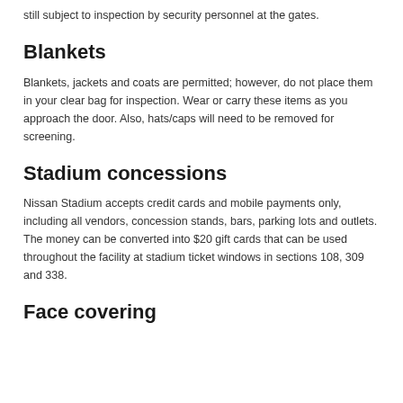still subject to inspection by security personnel at the gates.
Blankets
Blankets, jackets and coats are permitted; however, do not place them in your clear bag for inspection. Wear or carry these items as you approach the door. Also, hats/caps will need to be removed for screening.
Stadium concessions
Nissan Stadium accepts credit cards and mobile payments only, including all vendors, concession stands, bars, parking lots and outlets. The money can be converted into $20 gift cards that can be used throughout the facility at stadium ticket windows in sections 108, 309 and 338.
Face covering